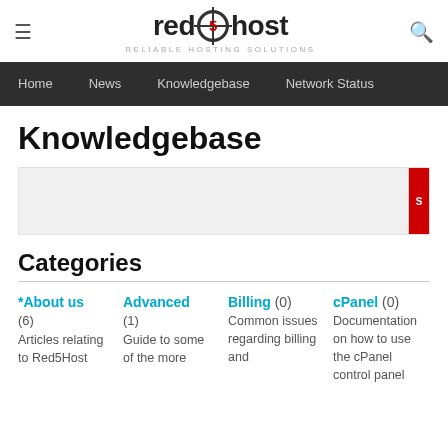red5host - RELIABLE HOSTING SOLUTIONS
Home | News | Knowledgebase | Network Status
Knowledgebase
Categories
*About us (6) Articles relating to Red5Host
Advanced (1) Guide to some of the more
Billing (0) Common issues regarding billing and
cPanel (0) Documentation on how to use the cPanel control panel